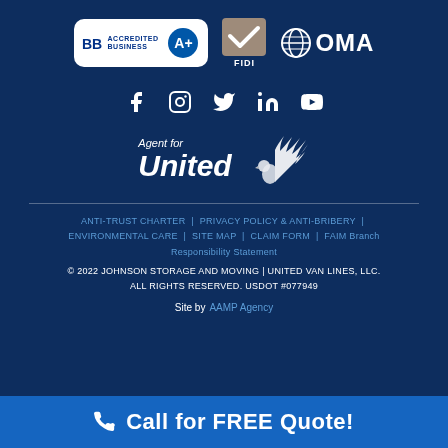[Figure (logo): BBB Accredited Business A+ badge, FIDI certification badge, OMA (Overseas Moving Association) logo]
[Figure (logo): Social media icons: Facebook, Instagram, Twitter, LinkedIn, YouTube]
[Figure (logo): Agent for United Van Lines logo with eagle]
ANTI-TRUST CHARTER | PRIVACY POLICY & ANTI-BRIBERY | ENVIRONMENTAL CARE | SITE MAP | CLAIM FORM | FAIM Branch Responsibility Statement
© 2022 JOHNSON STORAGE AND MOVING | UNITED VAN LINES, LLC. ALL RIGHTS RESERVED. USDOT #077949
Site by AAMP Agency
Call for FREE Quote!